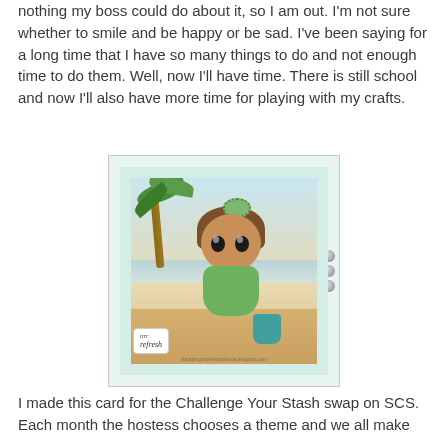nothing my boss could do about it, so I am out. I'm not sure whether to smile and be happy or be sad. I've been saying for a long time that I have so many things to do and not enough time to do them. Well, now I'll have time. There is still school and now I'll also have more time for playing with my crafts.
[Figure (illustration): A handmade craft card featuring a cartoon girl with big eyes and messy brown hair, wearing a green polka-dot dress and bow, sitting on a beach with palm trees and a teal bucket. The card has a teal/mint border with pearl gems on the right side and a 'hit refresh' sentiment tag in the lower left.]
I made this card for the Challenge Your Stash swap on SCS. Each month the hostess chooses a theme and we all make